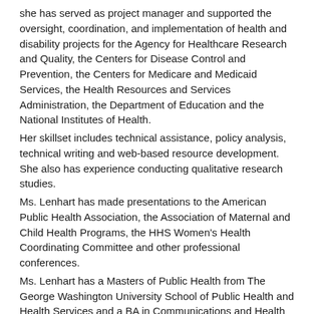she has served as project manager and supported the oversight, coordination, and implementation of health and disability projects for the Agency for Healthcare Research and Quality, the Centers for Disease Control and Prevention, the Centers for Medicare and Medicaid Services, the Health Resources and Services Administration, the Department of Education and the National Institutes of Health. Her skillset includes technical assistance, policy analysis, technical writing and web-based resource development. She also has experience conducting qualitative research studies. Ms. Lenhart has made presentations to the American Public Health Association, the Association of Maternal and Child Health Programs, the HHS Women's Health Coordinating Committee and other professional conferences. Ms. Lenhart has a Masters of Public Health from The George Washington University School of Public Health and Health Services and a BA in Communications and Health Sciences from Loyola University New Orleans. She is a member of the American Public Health Association.